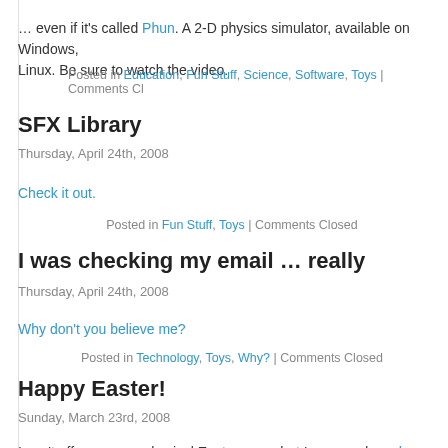… even if it's called Phun. A 2-D physics simulator, available on Windows, Linux. Be sure to watch the video.
Posted in Education, Fun Stuff, Science, Software, Toys | Comments Cl…
SFX Library
Thursday, April 24th, 2008
Check it out.
Posted in Fun Stuff, Toys | Comments Closed
I was checking my email … really
Thursday, April 24th, 2008
Why don't you believe me?
Posted in Technology, Toys, Why? | Comments Closed
Happy Easter!
Sunday, March 23rd, 2008
I can't offer you any physical Easter eggs, but I can send you here and here virtual Easter eggs.